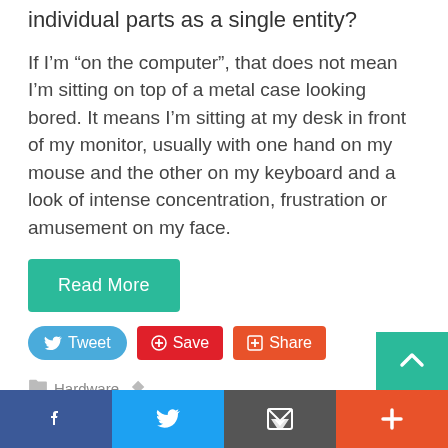individual parts as a single entity?
If I'm “on the computer”, that does not mean I’m sitting on top of a metal case looking bored. It means I’m sitting at my desk in front of my monitor, usually with one hand on my mouse and the other on my keyboard and a look of intense concentration, frustration or amusement on my face.
Read More
Tweet  Save  Share
Hardware   computers, definitions, keyboards, monitors, mouse, technology
Hardware Vs. Software